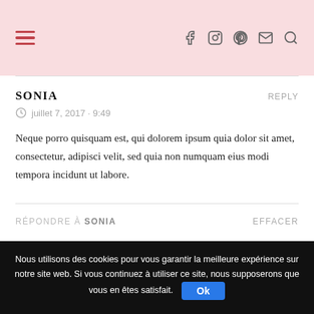Navigation header with hamburger menu and social icons (facebook, instagram, pinterest, email, search)
SONIA
juillet 7, 2017 - 9:49
Neque porro quisquam est, qui dolorem ipsum quia dolor sit amet, consectetur, adipisci velit, sed quia non numquam eius modi tempora incidunt ut labore.
RÉPONDRE À SONIA   EFFACER
Nous utilisons des cookies pour vous garantir la meilleure expérience sur notre site web. Si vous continuez à utiliser ce site, nous supposerons que vous en êtes satisfait. Ok